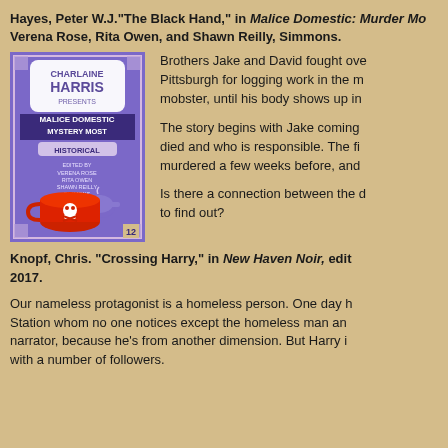Hayes, Peter W.J."The Black Hand," in Malice Domestic: Murder Most Historical, edited by Verena Rose, Rita Owen, and Shawn Reilly, Simmons.
[Figure (illustration): Book cover of 'Charlaine Harris Presents Malice Domestic Mystery Most Historical' edited by Verena Rose, Rita Owen, Shawn Reilly Simmons. Purple background with a red teacup featuring a skull and crossbones, with a teapot beside it.]
Brothers Jake and David fought over Pittsburgh for logging work in the mobster, until his body shows up in
The story begins with Jake coming died and who is responsible. The murdered a few weeks before, and
Is there a connection between the to find out?
Knopf, Chris. "Crossing Harry," in New Haven Noir, 2017.
Our nameless protagonist is a homeless person. One day Station whom no one notices except the homeless man narrator, because he's from another dimension. But Harry with a number of followers.